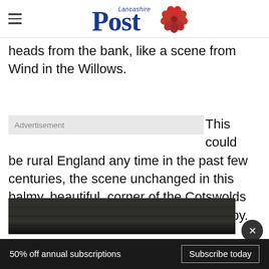Lancashire Post
heads from the bank, like a scene from Wind in the Willows.
Advertisement
This could be rural England any time in the past few centuries, the scene unchanged in this balmy, beautiful, corner of the Cotswolds which seems immune to time passing by.
[Figure (photo): Dark wood planks texture photo]
50% off annual subscriptions  Subscribe today